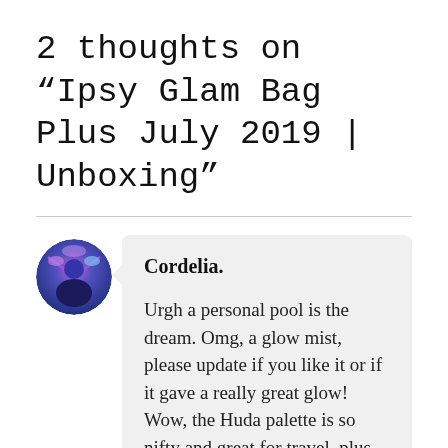2 thoughts on “Ipsy Glam Bag Plus July 2019 | Unboxing”
Cordelia.
Urgh a personal pool is the dream. Omg, a glow mist, please update if you like it or if it gave a really great glow! Wow, the Huda palette is so nifty and great for travel, plus